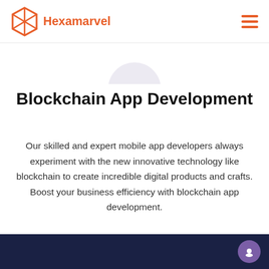Hexamarvel
[Figure (illustration): Partial circle/icon shape visible at top center, light lavender color]
Blockchain App Development
Our skilled and expert mobile app developers always experiment with the new innovative technology like blockchain to create incredible digital products and crafts. Boost your business efficiency with blockchain app development.